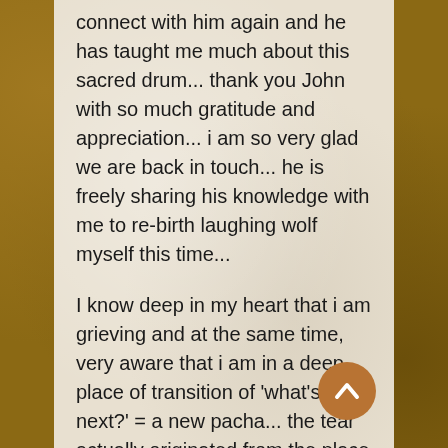connect with him again and he has taught me much about this sacred drum... thank you John with so much gratitude and appreciation... i am so very glad we are back in touch... he is freely sharing his knowledge with me to re-birth laughing wolf myself this time...
I know deep in my heart that i am grieving and at the same time, very aware that i am in a deep place of transition of 'what's next?' = a new pacha... the tear actually originated from the place of the east - the place of my 'becoming' and new birth...
[Figure (illustration): A circular brown/copper colored button with an upward-pointing chevron/arrow icon in white, positioned at bottom right of the content card as a scroll-to-top button.]